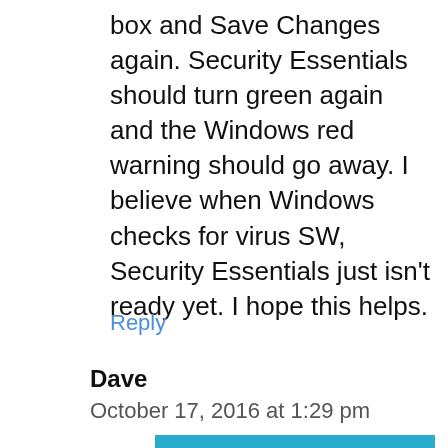box and Save Changes again. Security Essentials should turn green again and the Windows red warning should go away. I believe when Windows checks for virus SW, Security Essentials just isn't ready yet. I hope this helps.
Reply
Dave
October 17, 2016 at 1:29 pm
[Figure (logo): SHORE BCN logo on a blue background with wave decoration and underline]